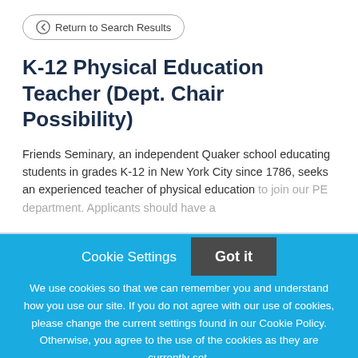Return to Search Results
K-12 Physical Education Teacher (Dept. Chair Possibility)
Friends Seminary, an independent Quaker school educating students in grades K-12 in New York City since 1786, seeks an experienced teacher of physical education to join our PE department. Applicants should have a
Cookie Settings
Got it
We use cookies so that we can remember you and understand how you use our site. If you do not agree with our use of cookies, please change the current settings found in our Cookie Policy. Otherwise, you agree to the use of the cookies as they are currently set.